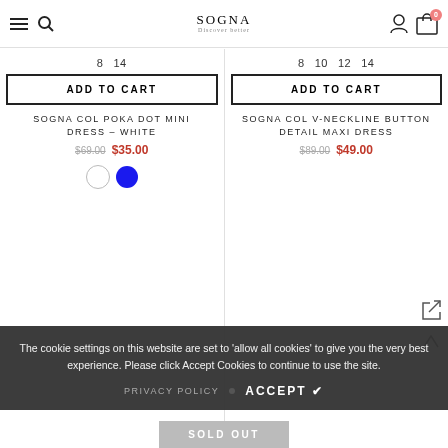SOGNA — Discover better (navigation bar with menu, search, logo, user, cart)
8 14
8 10 12 14
ADD TO CART
ADD TO CART
SOGNA COL POKA DOT MINI DRESS – White
SOGNA COL V-NECKLINE BUTTON DETAIL MAXI DRESS
$69.00  $35.00
$89.00  $49.00
The cookie settings on this website are set to 'allow all cookies' to give you the very best experience. Please click Accept Cookies to continue to use the site.
PRIVACY POLICY  ACCEPT ✔
SOLD OUT